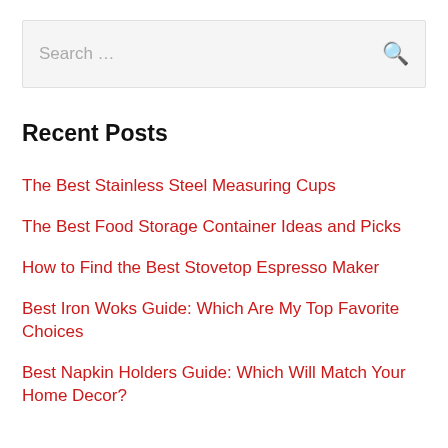[Figure (screenshot): Search input box with placeholder text 'Search ...' and a search icon on the right]
Recent Posts
The Best Stainless Steel Measuring Cups
The Best Food Storage Container Ideas and Picks
How to Find the Best Stovetop Espresso Maker
Best Iron Woks Guide: Which Are My Top Favorite Choices
Best Napkin Holders Guide: Which Will Match Your Home Decor?